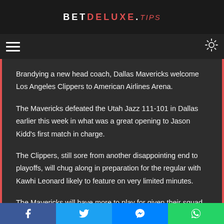BETDELUXE.TIPS
Brandying a new head coach, Dallas Mavericks welcome Los Angeles Clippers to American Airlines Arena.
The Mavericks defeated the Utah Jazz 111-101 in Dallas earlier this week in what was a great opening to Jason Kidd's first match in charge.
The Clippers, still sore from another disappointing end to playoffs, will chug along in preparation for the regular with Kawhi Leonard likely to feature on very limited minutes.
The Mavericks will have more to play for given their squad will
Facebook | Twitter | Messenger | WhatsApp